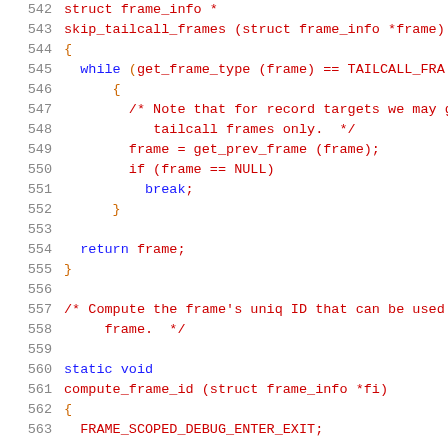Source code listing lines 542-563, showing a C function skip_tailcall_frames and the beginning of compute_frame_id